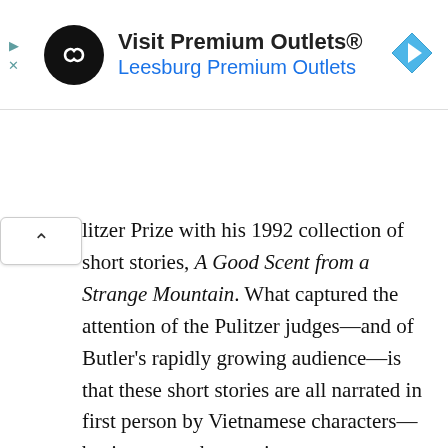[Figure (advertisement): Advertisement banner for Visit Premium Outlets® - Leesburg Premium Outlets, with a black circular logo with infinity-like symbol, blue navigation arrow icon on the right, and ad controls (triangle/X) on the left.]
litzer Prize with his 1992 collection of short stories, A Good Scent from a Strange Mountain. What captured the attention of the Pulitzer judges—and of Butler's rapidly growing audience—is that these short stories are all narrated in first person by Vietnamese characters—businessmen, housewives, war veterans, all immigrants to the United States. This is a remarkable and unique achievement when compared with the "Vietnam fiction" of other authors such as Tim O'Brien and Elizabeth